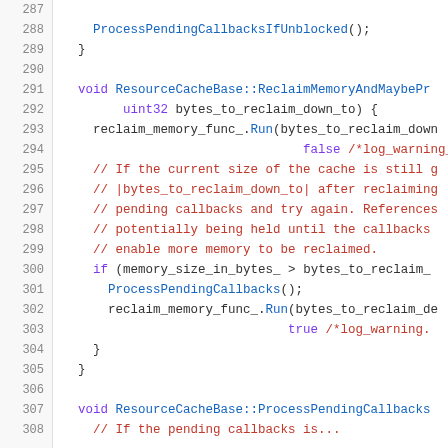Source code listing lines 287-308, C++ ResourceCacheBase implementation